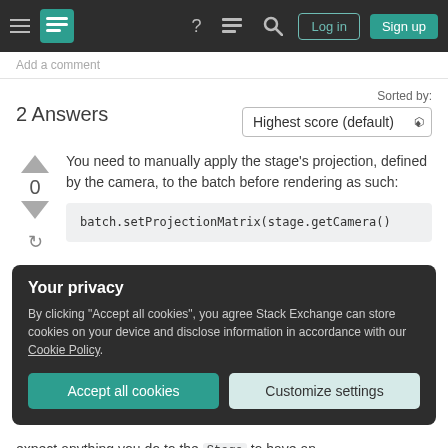Stack Exchange navigation bar with hamburger, logo, help, chat, search, Log in, Sign up
Add a comment
2 Answers
Sorted by: Highest score (default)
You need to manually apply the stage's projection, defined by the camera, to the batch before rendering as such:
Your privacy
By clicking "Accept all cookies", you agree Stack Exchange can store cookies on your device and disclose information in accordance with our Cookie Policy.
expect anything you do to the Stage to have an